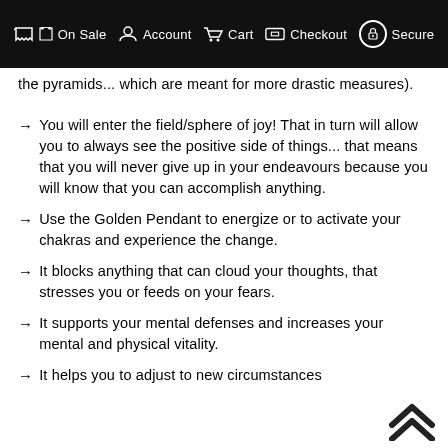On Sale  Account  Cart  Checkout  Secure
the pyramids... which are meant for more drastic measures).
→ You will enter the field/sphere of joy! That in turn will allow you to always see the positive side of things... that means that you will never give up in your endeavours because you will know that you can accomplish anything.
→ Use the Golden Pendant to energize or to activate your chakras and experience the change.
→ It blocks anything that can cloud your thoughts, that stresses you or feeds on your fears.
→ It supports your mental defenses and increases your mental and physical vitality.
→ It helps you to adjust to new circumstances